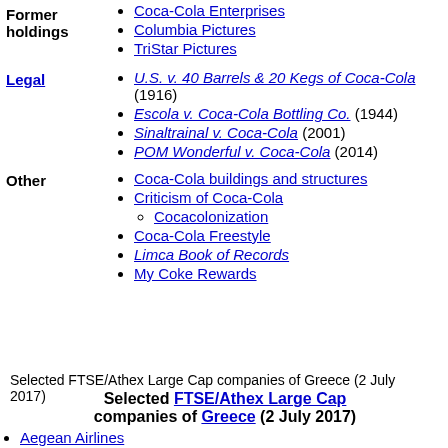Coca-Cola Enterprises
Columbia Pictures
TriStar Pictures
U.S. v. 40 Barrels & 20 Kegs of Coca-Cola (1916)
Escola v. Coca-Cola Bottling Co. (1944)
Sinaltrainal v. Coca-Cola (2001)
POM Wonderful v. Coca-Cola (2014)
Coca-Cola buildings and structures
Criticism of Coca-Cola
Cocacolonization
Coca-Cola Freestyle
Limca Book of Records
My Coke Rewards
Selected FTSE/Athex Large Cap companies of Greece (2 July 2017)
Selected FTSE/Athex Large Cap companies of Greece (2 July 2017)
Aegean Airlines
Alpha Bank